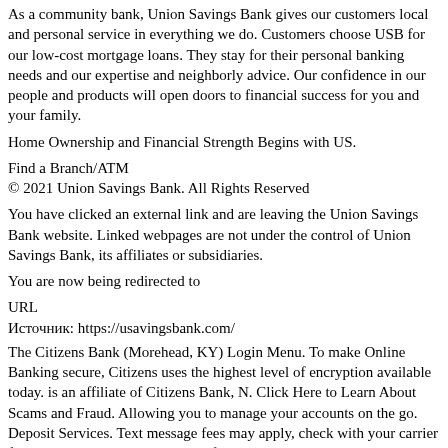As a community bank, Union Savings Bank gives our customers local and personal service in everything we do. Customers choose USB for our low-cost mortgage loans. They stay for their personal banking needs and our expertise and neighborly advice. Our confidence in our people and products will open doors to financial success for you and your family.
Home Ownership and Financial Strength Begins with US.
Find a Branch/ATM
© 2021 Union Savings Bank. All Rights Reserved
You have clicked an external link and are leaving the Union Savings Bank website. Linked webpages are not under the control of Union Savings Bank, its affiliates or subsidiaries.
You are now being redirected to
URL
Источник: https://usavingsbank.com/
The Citizens Bank (Morehead, KY) Login Menu. To make Online Banking secure, Citizens uses the highest level of encryption available today. is an affiliate of Citizens Bank, N. Click Here to Learn About Scams and Fraud. Allowing you to manage your accounts on the go. Deposit Services. Text message fees may apply, check with your carrier for details. Citizens Bank is classified as a commercial